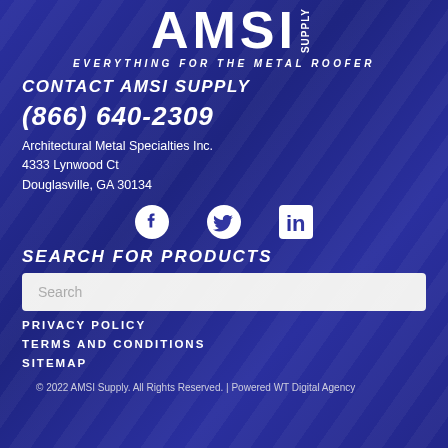[Figure (logo): AMSI SUPPLY logo with large white bold text and 'SUPPLY' vertically on right side]
EVERYTHING FOR THE METAL ROOFER
CONTACT AMSI SUPPLY
(866) 640-2309
Architectural Metal Specialties Inc.
4333 Lynwood Ct
Douglasville, GA 30134
[Figure (illustration): Social media icons: Facebook, Twitter, LinkedIn]
SEARCH FOR PRODUCTS
Search
PRIVACY POLICY
TERMS AND CONDITIONS
SITEMAP
© 2022 AMSI Supply. All Rights Reserved. | Powered WT Digital Agency